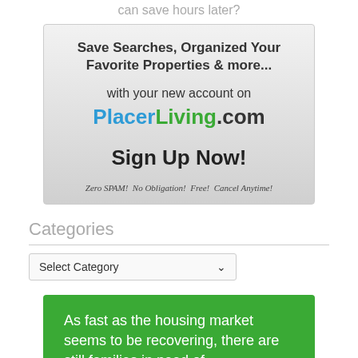can save hours later?
[Figure (infographic): Advertisement box with gradient gray background promoting PlacerLiving.com account signup. Text: Save Searches, Organized Your Favorite Properties & more... with your new account on PlacerLiving.com Sign Up Now! Zero SPAM! No Obligation! Free! Cancel Anytime!]
Categories
Select Category
As fast as the housing market seems to be recovering, there are still families in need of